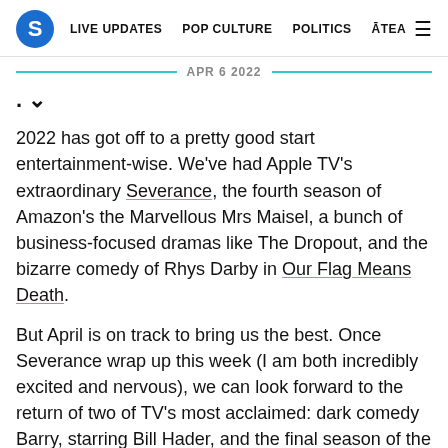S | LIVE UPDATES  POP CULTURE  POLITICS  ĀTEA  ☰
APR 6 2022
2022 has got off to a pretty good start entertainment-wise. We've had Apple TV's extraordinary Severance, the fourth season of Amazon's the Marvellous Mrs Maisel, a bunch of business-focused dramas like The Dropout, and the bizarre comedy of Rhys Darby in Our Flag Means Death.
But April is on track to bring us the best. Once Severance wrap up this week (I am both incredibly excited and nervous), we can look forward to the return of two of TV's most acclaimed: dark comedy Barry, starring Bill Hader, and the final season of the Breaking Bad prequel series Better